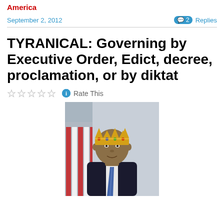America
September 2, 2012   💬 2 Replies
TYRANICAL: Governing by Executive Order, Edict, decree, proclamation, or by diktat
☆☆☆☆☆ ℹ Rate This
[Figure (photo): Photo of Barack Obama wearing a golden crown, in front of an American flag, dressed in a dark suit with a tie.]